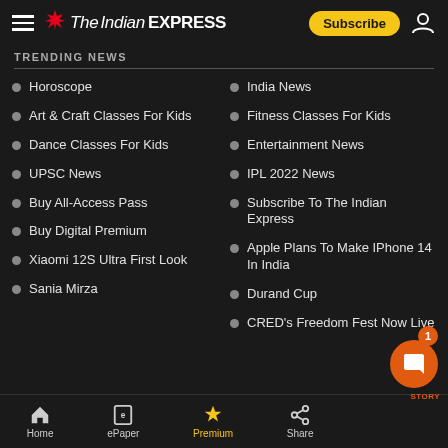The Indian Express — Subscribe
TRENDING NEWS
Horoscope
India News
Art & Craft Classes For Kids
Fitness Classes For Kids
Dance Classes For Kids
Entertainment News
UPSC News
IPL 2022 News
Buy All-Access Pass
Subscribe To The Indian Express
Buy Digital Premium
Apple Plans To Make IPhone 14 In India
Xiaomi 12S Ultra First Look
Durand Cup
Sania Mirza
CRED's Freedom Fest Now Live
Home | ePaper | Premium | Share | STORY